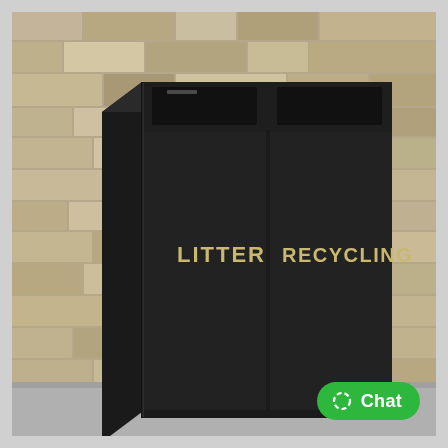[Figure (photo): A black dual-compartment outdoor litter and recycling bin with openings at the top and gold lettering reading 'LITTER' on the left and 'RECYCLING' on the right, set against a dry stone wall background on a grey paved surface.]
[Figure (other): Green rounded rectangle chat button with a circular arrow icon and white bold text 'Chat', overlaid in the bottom-right of the image.]